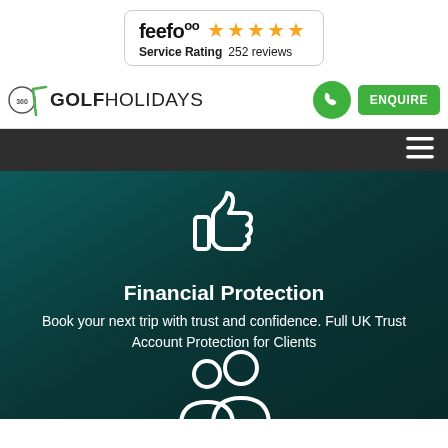[Figure (logo): Feefo service rating badge with 5 gold stars and '252 reviews' text]
[Figure (logo): 360 Golf Holidays logo with golf club icon]
[Figure (illustration): Green phone icon button (circular)]
ENQUIRE
[Figure (illustration): Hamburger menu icon (three white horizontal bars) on dark navigation bar]
[Figure (illustration): White thumbs up icon on dark teal background]
Financial Protection
Book your next trip with trust and confidence. Full UK Trust Account Protection for Clients
[Figure (illustration): White people/group icon on dark teal background, partially visible at bottom]